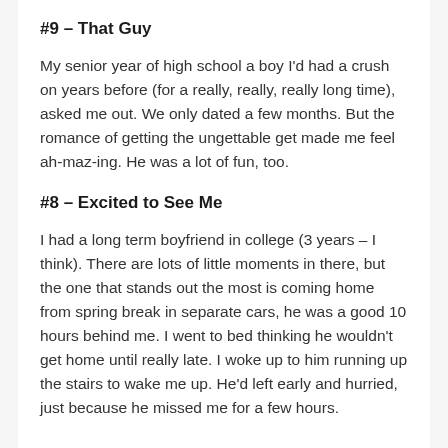#9 – That Guy
My senior year of high school a boy I'd had a crush on years before (for a really, really, really long time), asked me out. We only dated a few months. But the romance of getting the ungettable get made me feel ah-maz-ing. He was a lot of fun, too.
#8 – Excited to See Me
I had a long term boyfriend in college (3 years – I think). There are lots of little moments in there, but the one that stands out the most is coming home from spring break in separate cars, he was a good 10 hours behind me. I went to bed thinking he wouldn't get home until really late. I woke up to him running up the stairs to wake me up. He'd left early and hurried, just because he missed me for a few hours.